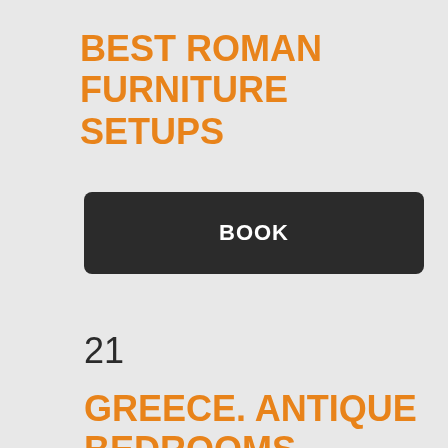BEST ROMAN FURNITURE SETUPS
BOOK
21
GREECE. ANTIQUE BEDROOMS